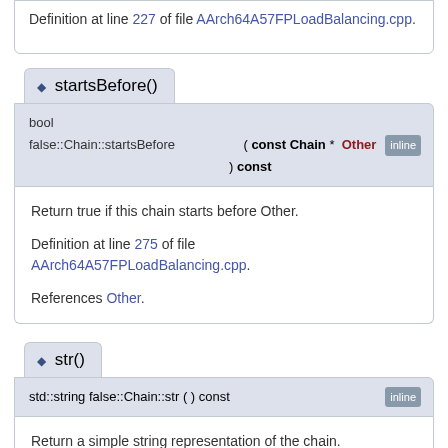Definition at line 227 of file AArch64A57FPLoadBalancing.cpp.
◆ startsBefore()
bool false::Chain::startsBefore ( const Chain * Other ) const [inline]
Return true if this chain starts before Other.

Definition at line 275 of file AArch64A57FPLoadBalancing.cpp.

References Other.
◆ str()
std::string false::Chain::str ( ) const [inline]
Return a simple string representation of the chain.